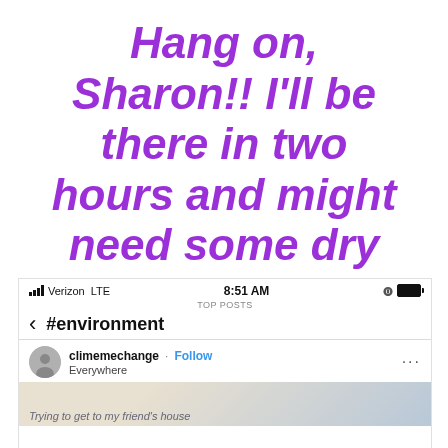Hang on, Sharon!! I'll be there in two hours and might need some dry clothes!
[Figure (screenshot): Instagram app screenshot showing status bar with Verizon LTE, 8:51 AM, battery icon, TOP POSTS heading, #environment hashtag page, and a post by climemechange from Everywhere with partial image showing text 'Trying to get to my friend's house']